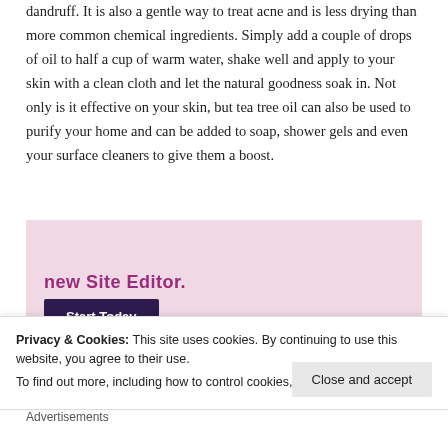dandruff. It is also a gentle way to treat acne and is less drying than more common chemical ingredients. Simply add a couple of drops of oil to half a cup of warm water, shake well and apply to your skin with a clean cloth and let the natural goodness soak in. Not only is it effective on your skin, but tea tree oil can also be used to purify your home and can be added to soap, shower gels and even your surface cleaners to give them a boost.
[Figure (screenshot): WordPress.com advertisement banner with pink background, showing 'new Site Editor.' text, a dark 'Start Today' button, and WordPress.com logo in bottom right corner.]
Privacy & Cookies: This site uses cookies. By continuing to use this website, you agree to their use. To find out more, including how to control cookies, see here: Cookie Policy
Close and accept
Advertisements